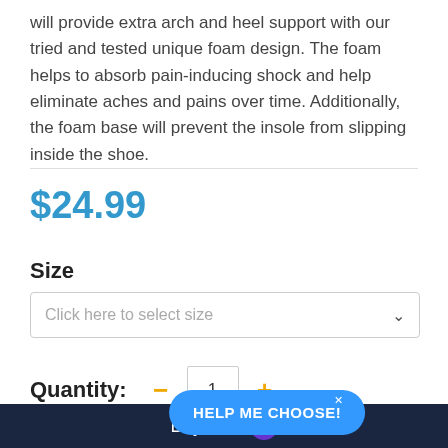will provide extra arch and heel support with our tried and tested unique foam design. The foam helps to absorb pain-inducing shock and help eliminate aches and pains over time. Additionally, the foam base will prevent the insole from slipping inside the shoe.
$24.99
Size
Click here to select size
Quantity: — 1 +
HELP ME CHOOSE!
Buy now